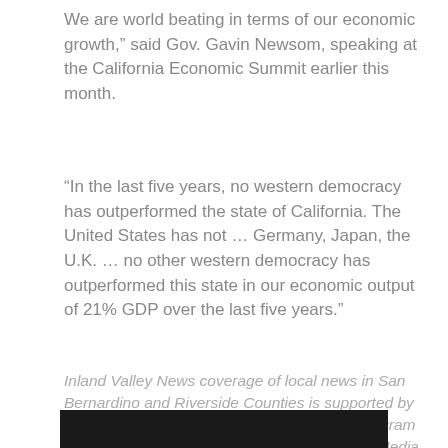We are world beating in terms of our economic growth," said Gov. Gavin Newsom, speaking at the California Economic Summit earlier this month.
“In the last five years, no western democracy has outperformed the state of California. The United States has not … Germany, Japan, the U.K. … no other western democracy has outperformed this state in our economic output of 21% GDP over the last five years.”
Inland Valley News coverage of local news in San Bernardino and Riverside Counties is supported by the Ethnic Media Sustainability Initiative, a program created by California Black Media and Ethnic Media Services to support minority-owned-and-operated community newspapers across California.
[Figure (other): Dark/black bar at the bottom of the page]